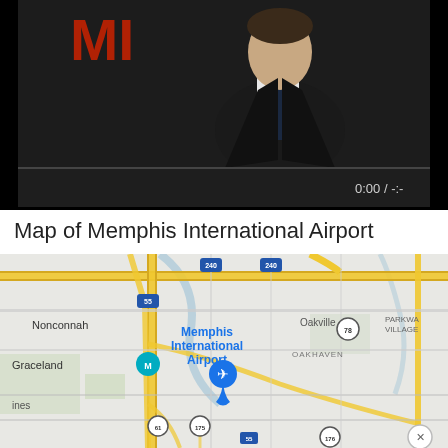[Figure (photo): Video player showing a man in a dark suit and tie against a dark background with red text visible. Video controls bar shows time 0:00 / -:-]
Map of Memphis International Airport
[Figure (map): Google Maps view of Memphis International Airport area showing roads, neighborhoods including Nonconnah, Graceland, Oakville, Oakhaven, Parkway Village, interstate highways I-55, I-240, I-240, routes 78, 175, 55, 61, 176. Airport marker with airplane icon visible in center.]